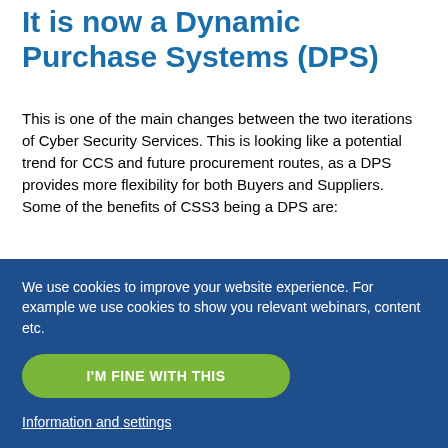It is now a Dynamic Purchase Systems (DPS)
This is one of the main changes between the two iterations of Cyber Security Services. This is looking like a potential trend for CCS and future procurement routes, as a DPS provides more flexibility for both Buyers and Suppliers. Some of the benefits of CSS3 being a DPS are:
Flexible – Suppliers can easily and quickly add themselves to the DPS over the lifetime of the agreement, once the DPS is open, suppliers can join at any time. Although this is a positive of a DPS, it is always
We use cookies to improve your website experience. For example we use cookies to show you relevant webinars, content etc.
I'M FINE WITH THIS
Information and settings